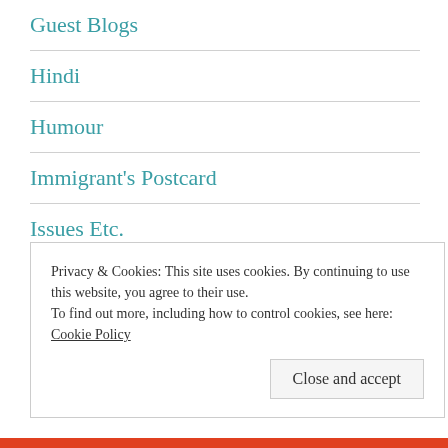Guest Blogs
Hindi
Humour
Immigrant's Postcard
Issues Etc.
Know the Writer
Letters
Privacy & Cookies: This site uses cookies. By continuing to use this website, you agree to their use. To find out more, including how to control cookies, see here: Cookie Policy
Close and accept